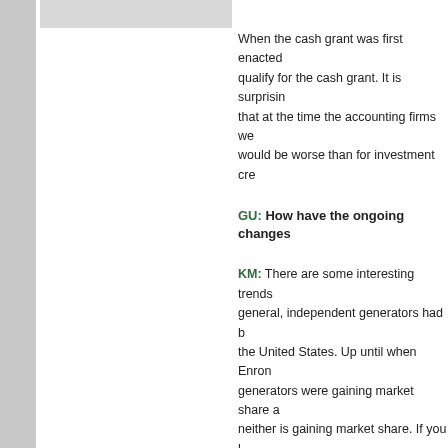[Figure (other): Gray image placeholder box in upper left area]
When the cash grant was first enacted qualify for the cash grant. It is surprising that at the time the accounting firms we would be worse than for investment cre
GU: How have the ongoing changes
KM: There are some interesting trends general, independent generators had b the United States. Up until when Enron generators were gaining market share a neither is gaining market share. If you l decade, but most of the new capacity a
There was a slowdown the last couple now is that more utilities are again look